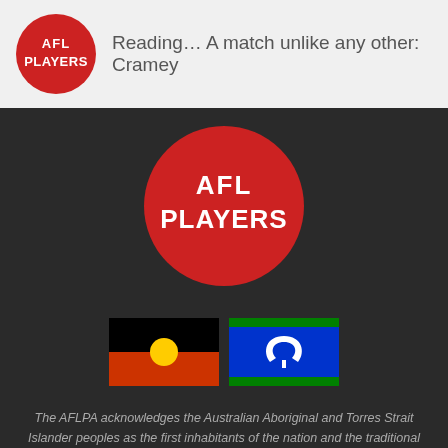Reading… A match unlike any other: Cramey
[Figure (logo): AFL Players logo — red circle with white text AFL PLAYERS on dark background, large version centered in dark section]
[Figure (illustration): Australian Aboriginal flag (black top half, red bottom half, yellow circle center) and Torres Strait Islander flag (blue with green stripes top and bottom, white dhari/headdress symbol) side by side]
The AFLPA acknowledges the Australian Aboriginal and Torres Strait Islander peoples as the first inhabitants of the nation and the traditional custodians of the lands where we live, learn and work.
© Copyright 2022 AFL Players' Association. All Rights Reserved. Privacy Policy | Web Design by IGNITE.